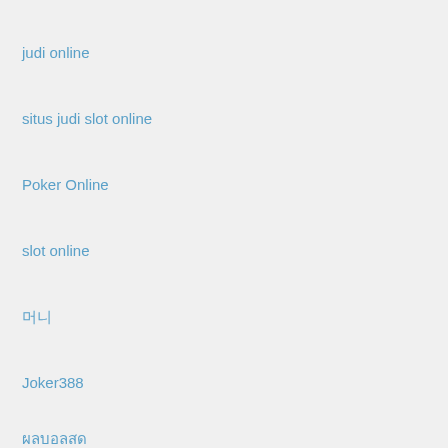judi online
situs judi slot online
Poker Online
slot online
머니
Joker388
ผลบอลสด